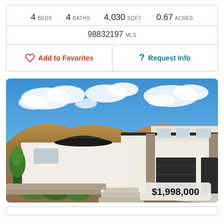4 BEDS   4 BATHS   4,030 SQFT.   0.67 ACRES
98832197 MLS
Add to Favorites
Request Info
[Figure (photo): Modern two-story white stucco home with dark garage doors, stone accents, desert hillside backdrop, blue sky with clouds. Price tag overlay: $1,998,000]
$1,998,000